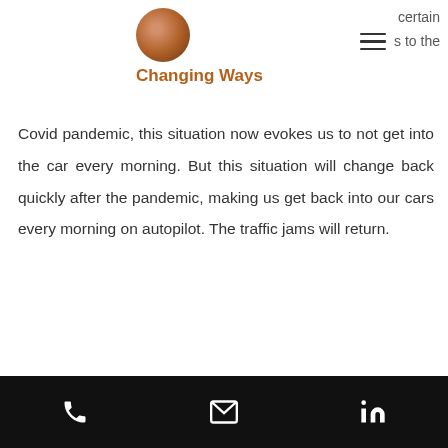Changing Ways
Covid pandemic, this situation now evokes us to not get into the car every morning. But this situation will change back quickly after the pandemic, making us get back into our cars every morning on autopilot. The traffic jams will return.
Conscious choices can prevent traffic jams after Covid
As long as the situation does not change in the long-term, our behaviour will not change in the
phone | email | linkedin